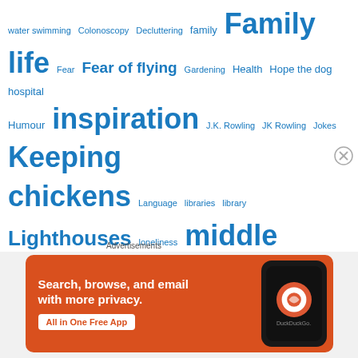[Figure (other): Tag cloud with various topics in different font sizes, all in blue. Tags include: water swimming, Colonoscopy, Decluttering, family, Family life, Fear, Fear of flying, Gardening, Health, Hope the dog, hospital, Humour, inspiration, J.K. Rowling, JK Rowling, Jokes, Keeping chickens, Language, libraries, library, Lighthouses, loneliness, middle age, Motivation, NHS, Northern Lights, Orcadian, Organisation, Orkney, Photography, Poetry, Quotes, relationships, RNLI, romance, Sea, sea swimming, Short stories, Skies, snow, Spring, Storm Gertrude, storms, suicide awareness, sun, swimming]
Advertisements
[Figure (illustration): DuckDuckGo advertisement banner. Orange background with text: 'Search, browse, and email with more privacy. All in One Free App' with DuckDuckGo logo on a phone mockup.]